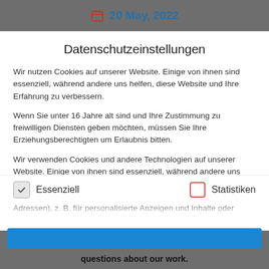20 May, 2022
Datenschutzeinstellungen
Wir nutzen Cookies auf unserer Website. Einige von ihnen sind essenziell, während andere uns helfen, diese Website und Ihre Erfahrung zu verbessern.
Wenn Sie unter 16 Jahre alt sind und Ihre Zustimmung zu freiwilligen Diensten geben möchten, müssen Sie Ihre Erziehungsberechtigten um Erlaubnis bitten.
Wir verwenden Cookies und andere Technologien auf unserer Website. Einige von ihnen sind essenziell, während andere uns helfen, diese Website und Ihre Erfahrung zu verbessern. Personenbezogene Daten können verarbeitet werden (z. B. IP-Adressen), z. B. für personalisierte Anzeigen und Inhalte oder
Essenziell
Statistiken
questions about our work.